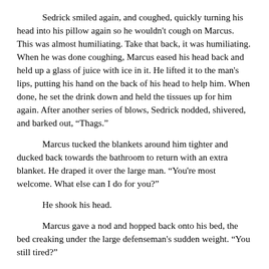Sedrick smiled again, and coughed, quickly turning his head into his pillow again so he wouldn't cough on Marcus. This was almost humiliating. Take that back, it was humiliating. When he was done coughing, Marcus eased his head back and held up a glass of juice with ice in it. He lifted it to the man's lips, putting his hand on the back of his head to help him. When done, he set the drink down and held the tissues up for him again. After another series of blows, Sedrick nodded, shivered, and barked out, “Thags.”
Marcus tucked the blankets around him tighter and ducked back towards the bathroom to return with an extra blanket. He draped it over the large man. “You're most welcome. What else can I do for you?”
He shook his head.
Marcus gave a nod and hopped back onto his bed, the bed creaking under the large defenseman's sudden weight. “You still tired?”
He shook his head again, with another cough.
“Ok then, you can help me make the most crucial decision of the day.” He grabbed hold of the movie order pamphlet